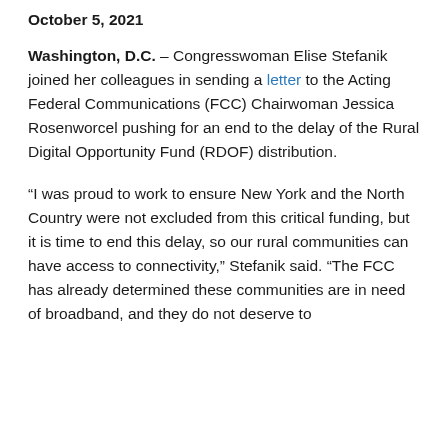October 5, 2021
Washington, D.C. – Congresswoman Elise Stefanik joined her colleagues in sending a letter to the Acting Federal Communications (FCC) Chairwoman Jessica Rosenworcel pushing for an end to the delay of the Rural Digital Opportunity Fund (RDOF) distribution.
“I was proud to work to ensure New York and the North Country were not excluded from this critical funding, but it is time to end this delay, so our rural communities can have access to connectivity,” Stefanik said. “The FCC has already determined these communities are in need of broadband, and they do not deserve to